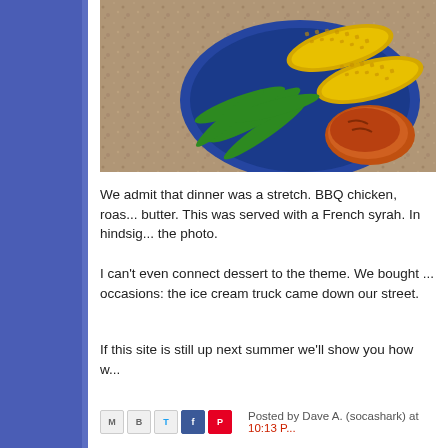[Figure (photo): A blue plate with grilled corn on the cob, green snap peas/beans, and BBQ chicken, photographed from above on a granite countertop surface.]
We admit that dinner was a stretch. BBQ chicken, roas... butter. This was served with a French syrah. In hindsig... the photo.
I can't even connect dessert to the theme. We bought ... occasions: the ice cream truck came down our street.
If this site is still up next summer we'll show you how w...
Posted by Dave A. (socashark) at 10:13 P...